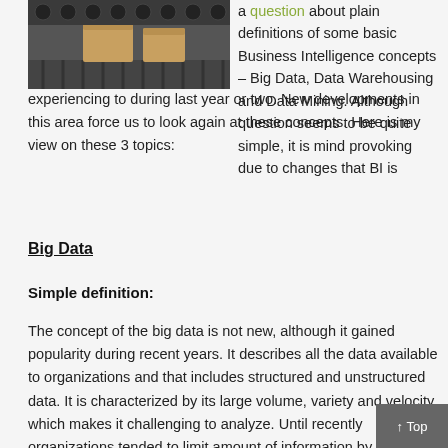[Figure (photo): Photo of cardboard boxes on a conveyor belt system with rollers]
a question about plain definitions of some basic Business Intelligence concepts – Big Data, Data Warehousing and Data Mining. Although question seems to be quite simple, it is mind provoking due to changes that BI is experiencing to during last year or two. New developments in this area force us to look again at these concepts. Here is my view on these 3 topics:
Big Data
Simple definition:
The concept of the big data is not new, although it gained popularity during recent years. It describes all the data available to organizations and that includes structured and unstructured data. It is characterized by its large volume, variety and velocity, which makes it challenging to analyze. Until recently organizations tended to limit amount of information by putting breaks and structure through governance and architecture. Too much information was considered